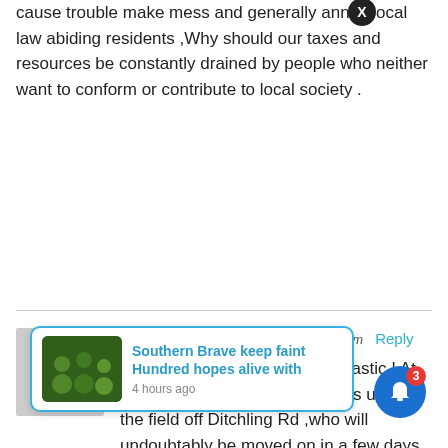cause trouble make mess and generally annoy local law abiding residents ,Why should our taxes and resources be constantly drained by people who neither want to conform or contribute to local society .
Dave Selley 24 June 2014 at 8.50pm Reply
So 12 permenant pitches , fantastic ! At present there are 50 + caravans up on the field off Ditchling Rd ,who will undoubtably be moved on in a few days and break into another beautiful unspoilt area to cover it in rubbish and human excrement despite facilities being provided ! These people do not want ...who just want to ...rally annoy loc... our taxes ... resources be constantly drained by people who
[Figure (screenshot): Notification popup overlay showing 'Southern Brave keep faint Hundred hopes alive with' headline, 4 hours ago, with a thumbnail of people in green jerseys. Also shows an X close button and a blue bell notification icon with a red badge showing 3.]